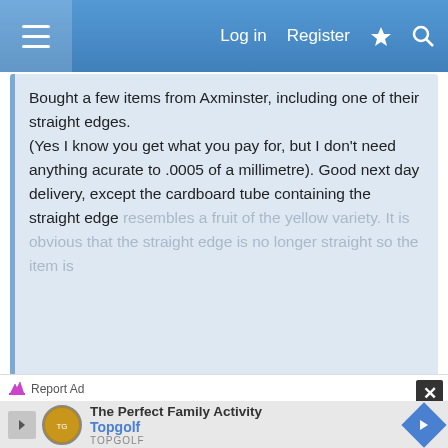Log in  Register
Bought a few items from Axminster, including one of their straight edges.
(Yes I know you get what you pay for, but I don't need anything acurate to .0005 of a millimetre). Good next day delivery, except the cardboard tube containing the straight edge resembles a fruit of the yellow variety. It is obvious that the straight edge is no longer straight so the item is
Click to expand...
Free to chat
Take the opportunity to tell them to stick their 'straight edge'
If you do a quick search, you'll see that I had to send mine back as it was in fact worse than 0.5mm out
[Figure (infographic): Advertisement banner for Topgolf - The Perfect Family Activity, with Topgolf logo and navigation arrow icon]